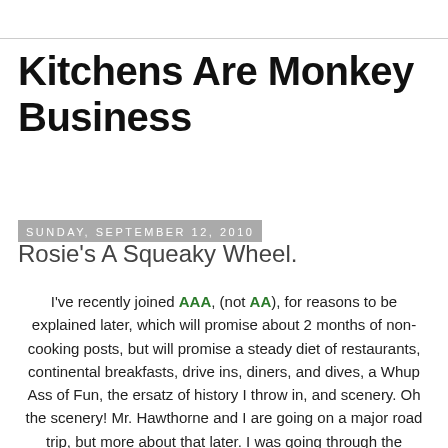Kitchens Are Monkey Business
Sunday, September 12, 2010
Rosie's A Squeaky Wheel.
I've recently joined AAA, (not AA), for reasons to be explained later, which will promise about 2 months of non-cooking posts, but will promise a steady diet of restaurants, continental breakfasts, drive ins, diners, and dives, a Whup Ass of Fun, the ersatz of history I throw in, and scenery. Oh the scenery! Mr. Hawthorne and I are going on a major road trip, but more about that later. I was going through the welcome letter/brochure from Triple A and found I have numerous discounts available to me now at selected places. To wit: Hertz Penske Lenscrafters DirecTV Sirius Satellite Radio Target.com Barnes & Noble AAA Prescription Savings SeaWorld Hyatt Hotels & Resorts Reebok Outlet Stores